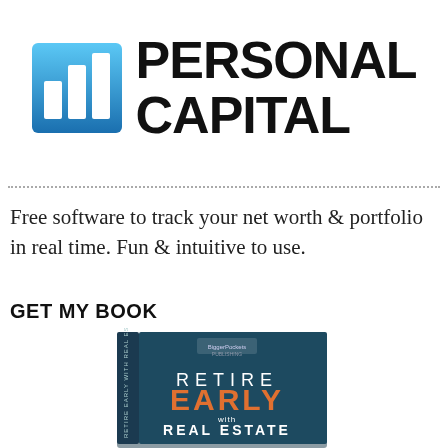[Figure (logo): Personal Capital logo: blue gradient bar chart icon on left, bold black text PERSONAL CAPITAL on right]
Free software to track your net worth & portfolio in real time. Fun & intuitive to use.
GET MY BOOK
[Figure (photo): Book cover for 'Retire Early with Real Estate' published by BiggerPockets Publishing, teal/dark blue cover with orange title text EARLY]